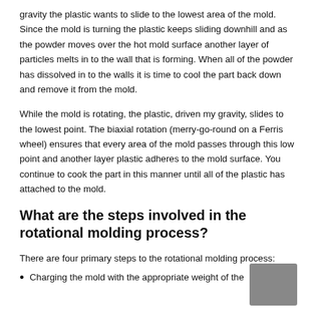gravity the plastic wants to slide to the lowest area of the mold. Since the mold is turning the plastic keeps sliding downhill and as the powder moves over the hot mold surface another layer of particles melts in to the wall that is forming. When all of the powder has dissolved in to the walls it is time to cool the part back down and remove it from the mold.
While the mold is rotating, the plastic, driven my gravity, slides to the lowest point. The biaxial rotation (merry-go-round on a Ferris wheel) ensures that every area of the mold passes through this low point and another layer plastic adheres to the mold surface. You continue to cook the part in this manner until all of the plastic has attached to the mold.
What are the steps involved in the rotational molding process?
There are four primary steps to the rotational molding process:
Charging the mold with the appropriate weight of the